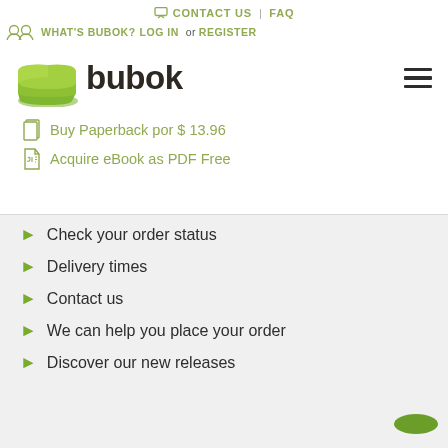CONTACT US | FAQ
WHAT'S BUBOK? LOG IN or REGISTER
[Figure (logo): Bubok logo with green stacked pages icon and 'bubok' wordmark in dark brown]
Buy Paperback por $ 13.96
Acquire eBook as PDF Free
Check your order status
Delivery times
Contact us
We can help you place your order
Discover our new releases